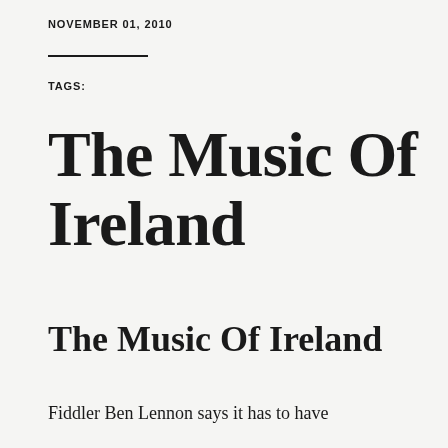NOVEMBER 01, 2010
TAGS:
The Music Of Ireland
The Music Of Ireland
Fiddler Ben Lennon says it has to have